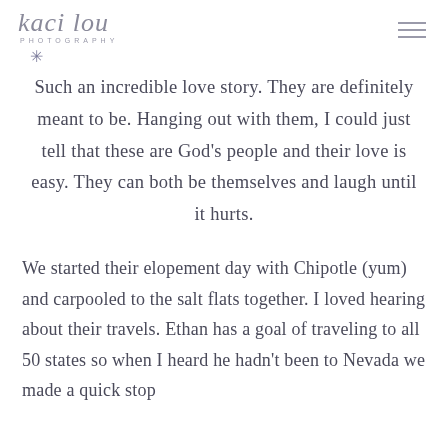kaci lou PHOTOGRAPHY
Such an incredible love story. They are definitely meant to be. Hanging out with them, I could just tell that these are God’s people and their love is easy. They can both be themselves and laugh until it hurts.
We started their elopement day with Chipotle (yum) and carpooled to the salt flats together. I loved hearing about their travels. Ethan has a goal of traveling to all 50 states so when I heard he hadn’t been to Nevada we made a quick stop